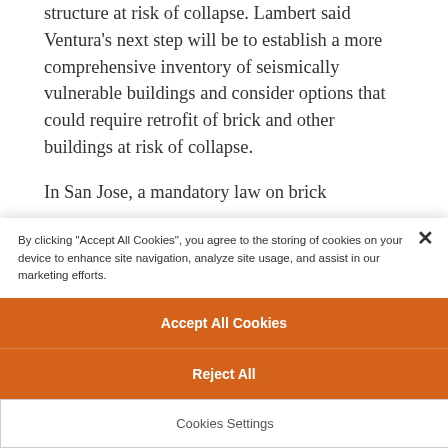structure at risk of collapse. Lambert said Ventura's next step will be to establish a more comprehensive inventory of seismically vulnerable buildings and consider options that could require retrofit of brick and other buildings at risk of collapse.
In San Jose, a mandatory law on brick
By clicking "Accept All Cookies", you agree to the storing of cookies on your device to enhance site navigation, analyze site usage, and assist in our marketing efforts.
Accept All Cookies
Reject All
Cookies Settings